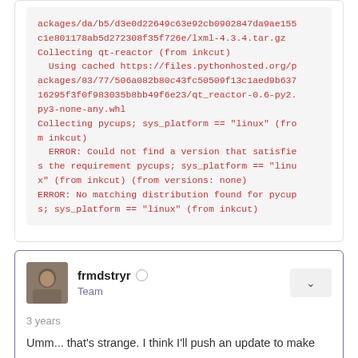ackages/da/b5/d3e0d22649c63e92cb0902847da9ae155c1e801178ab5d272308f35f726e/lxml-4.3.4.tar.gz
Collecting qt-reactor (from inkcut)
  Using cached https://files.pythonhosted.org/packages/83/77/506a082b80c43fc50509f13c1aed9b63716295f3f0f983035b8bb49f6e23/qt_reactor-0.6-py2.py3-none-any.whl
Collecting pycups; sys_platform == "linux" (from inkcut)
  ERROR: Could not find a version that satisfies the requirement pycups; sys_platform == "linux" (from inkcut) (from versions: none)
ERROR: No matching distribution found for pycups; sys_platform == "linux" (from inkcut)
frmdstryr
Team
3 years
Umm... that's strange. I think I'll push an update to make